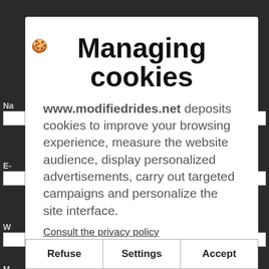[Figure (screenshot): Dark background showing a partially visible web form with labels Na-, E-, W-, M- and input fields, plus a red checkbox element.]
Managing cookies
www.modifiedrides.net deposits cookies to improve your browsing experience, measure the website audience, display personalized advertisements, carry out targeted campaigns and personalize the site interface.
Consult the privacy policy
Refuse | Settings | Accept